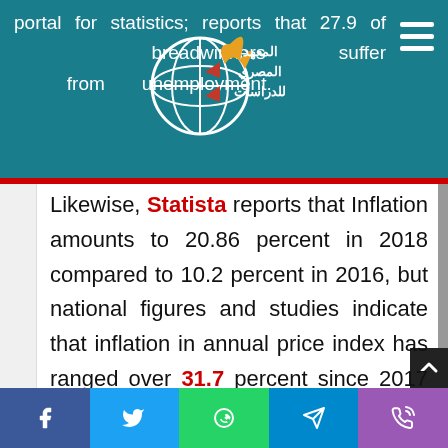portal for statistics; reports that 27.9 of breadwinners suffer from unemployment.
[Figure (logo): المعهد المصري للدراسات logo with globe and flame icon]
Likewise, Statista reports that Inflation amounts to 20.86 percent in 2018 compared to 10.2 percent in 2016, but national figures and studies indicate that inflation in annual price index has ranged over 31.7 percent since 2017 while increase in food commodities alone reached 41.7 percent[19]. Thereof, the minimum cost of food for a
f  ✓  ⊕  ✈  ✆